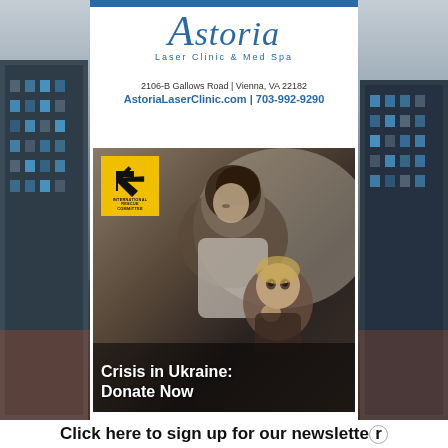[Figure (illustration): Background cityscape at dusk with tall buildings on left and right sides]
[Figure (logo): Astoria Laser Clinic & Med Spa logo with blue script text and decorative top bar]
2106-B Gallows Road | Vienna, VA 22182
AstoriaLaserClinic.com | 703-992-9290
[Figure (photo): International Rescue Committee advertisement showing a mother and child in distress with IRC logo and text 'Crisis in Ukraine: Donate Now']
Click here to sign up for our newsletter